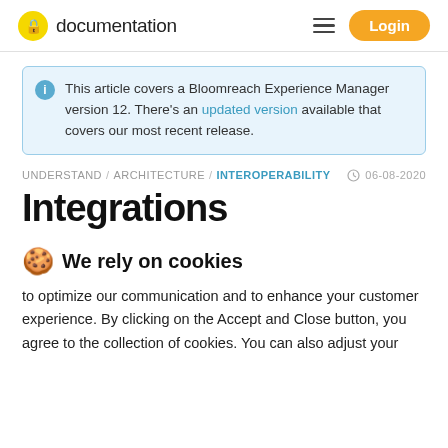documentation  Login
This article covers a Bloomreach Experience Manager version 12. There's an updated version available that covers our most recent release.
UNDERSTAND / ARCHITECTURE / INTEROPERABILITY  06-08-2020
Integrations
🍪 We rely on cookies
to optimize our communication and to enhance your customer experience. By clicking on the Accept and Close button, you agree to the collection of cookies. You can also adjust your